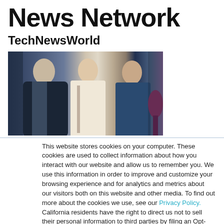News Network
TechNewsWorld
[Figure (photo): News reporters standing together, photo showing people in professional attire with microphones]
This website stores cookies on your computer. These cookies are used to collect information about how you interact with our website and allow us to remember you. We use this information in order to improve and customize your browsing experience and for analytics and metrics about our visitors both on this website and other media. To find out more about the cookies we use, see our Privacy Policy. California residents have the right to direct us not to sell their personal information to third parties by filing an Opt-Out Request: Do Not Sell My Personal Info.
Accept